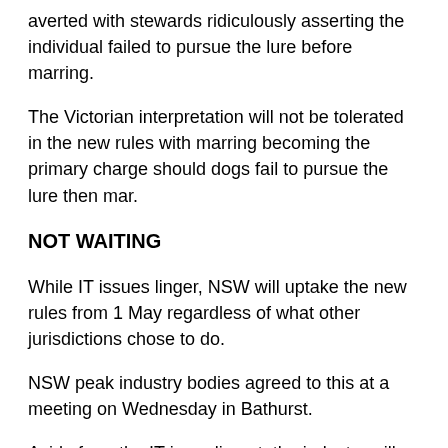averted with stewards ridiculously asserting the individual failed to pursue the lure before marring.
The Victorian interpretation will not be tolerated in the new rules with marring becoming the primary charge should dogs fail to pursue the lure then mar.
NOT WAITING
While IT issues linger, NSW will uptake the new rules from 1 May regardless of what other jurisdictions chose to do.
NSW peak industry bodies agreed to this at a meeting on Wednesday in Bathurst.
Aside from the IT impediment, the industry will benefit from the rule changes. Some of the key aspects outlined are:
* The national rules have been comprehensively amended, with the new Rules a substantially shorter and simpler document. Most individual rules remain in effect, but there